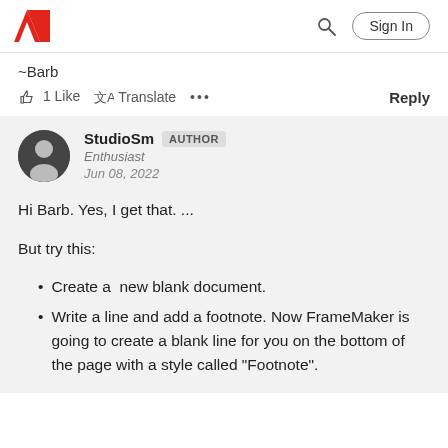Adobe logo, search icon, Sign In button
~Barb
1 Like   Translate   ...   Reply
StudioSm AUTHOR
Enthusiast
Jun 08, 2022
Hi Barb. Yes, I get that. ...
But try this:
Create a  new blank document.
Write a line and add a footnote. Now FrameMaker is going to create a blank line for you on the bottom of the page with a style called "Footnote".